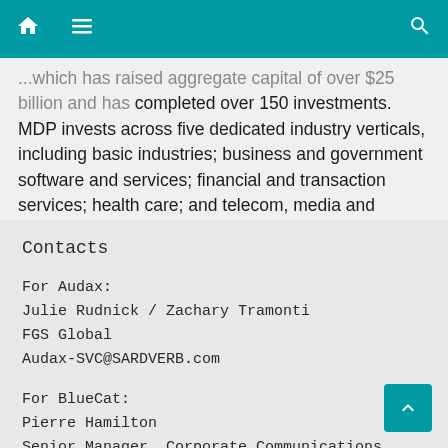Navigation bar with home, menu, and search icons
...which has raised aggregate capital of over $25 billion and has completed over 150 investments. MDP invests across five dedicated industry verticals, including basic industries; business and government software and services; financial and transaction services; health care; and telecom, media and technology services. For more information, please visit www.mdcp.com.
Contacts
For Audax:
Julie Rudnick / Zachary Tramonti
FGS Global
Audax-SVC@SARDVERB.com
For BlueCat:
Pierre Hamilton
Senior Manager, Corporate Communications